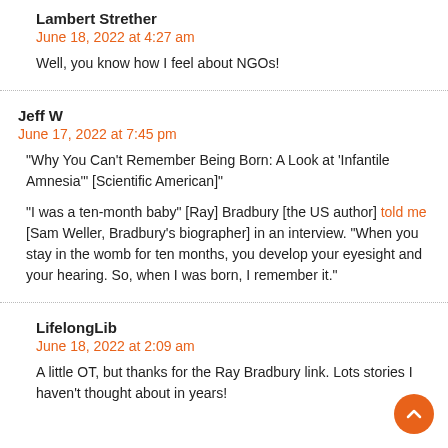Lambert Strether
June 18, 2022 at 4:27 am
Well, you know how I feel about NGOs!
Jeff W
June 17, 2022 at 7:45 pm
“Why You Can’t Remember Being Born: A Look at ‘Infantile Amnesia’” [Scientific American]"
“I was a ten-month baby” [Ray] Bradbury [the US author] told me [Sam Weller, Bradbury’s biographer] in an interview. “When you stay in the womb for ten months, you develop your eyesight and your hearing. So, when I was born, I remember it.”
LifelongLib
June 18, 2022 at 2:09 am
A little OT, but thanks for the Ray Bradbury link. Lots stories I haven’t thought about in years!